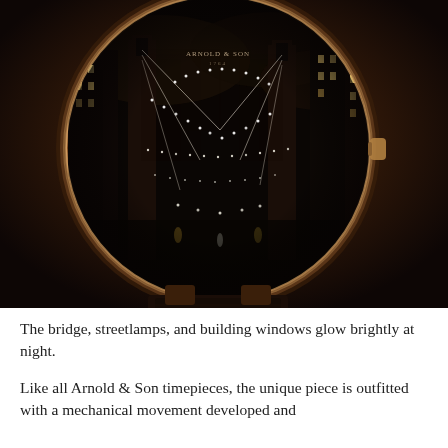[Figure (photo): Close-up photograph of an Arnold & Son luxury wristwatch with a dark dial depicting a nighttime cityscape of a bridge (resembling the Manhattan Bridge) illuminated by glowing streetlamps and building windows, with a dark brown leather strap, set against a dark brown background.]
The bridge, streetlamps, and building windows glow brightly at night.
Like all Arnold & Son timepieces, the unique piece is outfitted with a mechanical movement developed and